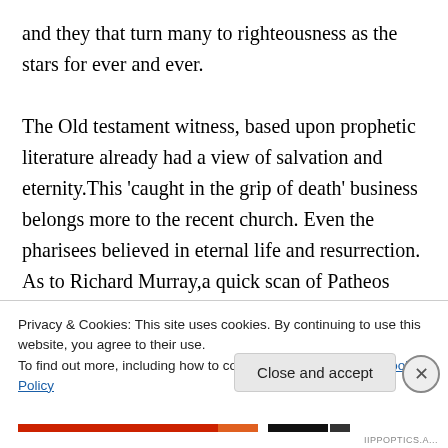and they that turn many to righteousness as the stars for ever and ever.
The Old testament witness, based upon prophetic literature already had a view of salvation and eternity.This 'caught in the grip of death' business belongs more to the recent church. Even the pharisees believed in eternal life and resurrection. As to Richard Murray,a quick scan of Patheos .com shows he is not remotely biased towards Catholicism. The debate about time and eternity he mentions is
Privacy & Cookies: This site uses cookies. By continuing to use this website, you agree to their use.
To find out more, including how to control cookies, see here: Cookie Policy